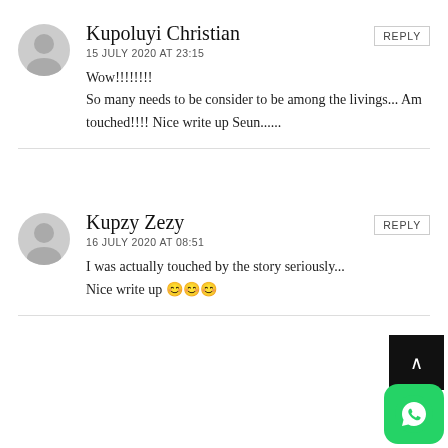Kupoluyi Christian
15 JULY 2020 AT 23:15
Wow!!!!!!!! So many needs to be consider to be among the livings... Am touched!!!! Nice write up Seun......
Kupzy Zezy
16 JULY 2020 AT 08:51
I was actually touched by the story seriously... Nice write up 😊😊😊